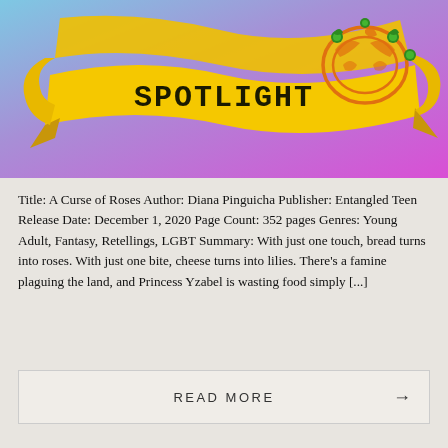[Figure (illustration): A yellow ribbon banner with the word SPOTLIGHT on it in bold black letters, set against a blue-to-purple gradient background with a decorative orange and green floral/crown logo in the top right corner.]
Title: A Curse of Roses Author: Diana Pinguicha Publisher: Entangled Teen Release Date: December 1, 2020 Page Count: 352 pages Genres: Young Adult, Fantasy, Retellings, LGBT Summary: With just one touch, bread turns into roses. With just one bite, cheese turns into lilies. There's a famine plaguing the land, and Princess Yzabel is wasting food simply [...]
READ MORE →